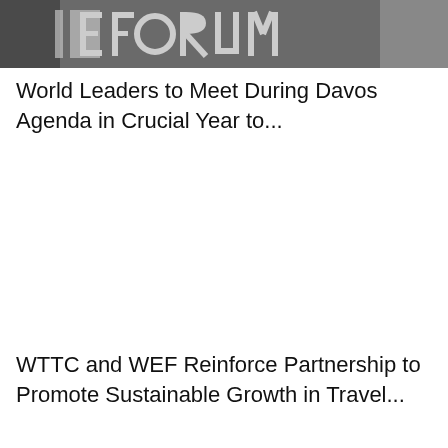[Figure (photo): Grayscale photo showing a sign or banner with the word 'FORUM' partially visible, dark background]
World Leaders to Meet During Davos Agenda in Crucial Year to...
WTTC and WEF Reinforce Partnership to Promote Sustainable Growth in Travel...